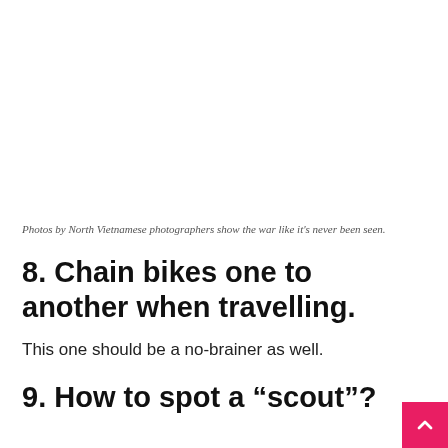Photos by North Vietnamese photographers show the war like it's never been seen.
8. Chain bikes one to another when travelling.
This one should be a no-brainer as well.
9. How to spot a “scout”?